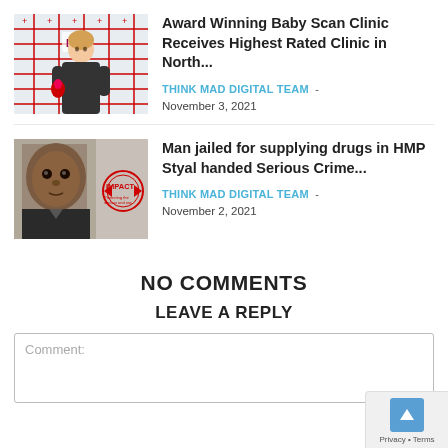[Figure (photo): Woman holding an award at an event with branded backdrop]
Award Winning Baby Scan Clinic Receives Highest Rated Clinic in North...
THINK MAD DIGITAL TEAM - November 3, 2021
[Figure (photo): Mugshot of a man next to IMPACT logo (Protecting the serious and org)]
Man jailed for supplying drugs in HMP Styal handed Serious Crime...
THINK MAD DIGITAL TEAM - November 2, 2021
NO COMMENTS
LEAVE A REPLY
Comment: